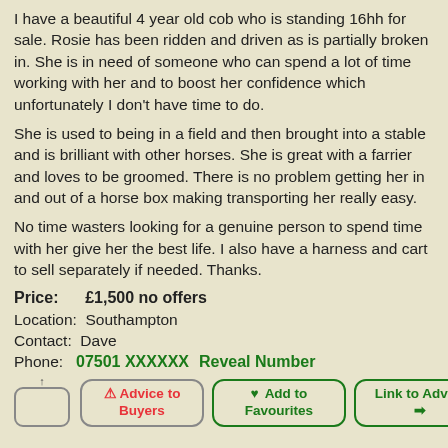I have a beautiful 4 year old cob who is standing 16hh for sale. Rosie has been ridden and driven as is partially broken in. She is in need of someone who can spend a lot of time working with her and to boost her confidence which unfortunately I don't have time to do.
She is used to being in a field and then brought into a stable and is brilliant with other horses. She is great with a farrier and loves to be groomed. There is no problem getting her in and out of a horse box making transporting her really easy.
No time wasters looking for a genuine person to spend time with her give her the best life. I also have a harness and cart to sell separately if needed. Thanks.
Price:      £1,500 no offers
Location:  Southampton
Contact:  Dave
Phone:   07501 XXXXXX    Reveal Number